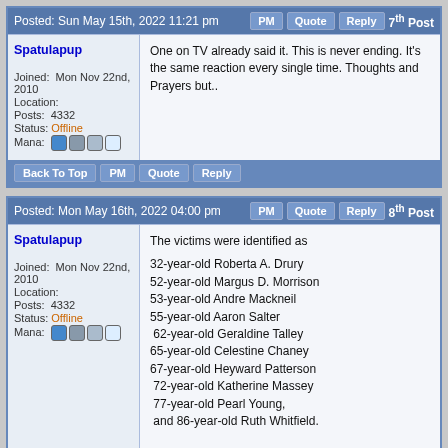Posted: Sun May 15th, 2022 11:21 pm
Spatulapup
Joined: Mon Nov 22nd, 2010
Location:
Posts: 4332
Status: Offline
Mana: [icons]
One on TV already said it. This is never ending. It's the same reaction every single time. Thoughts and Prayers but..
Back To Top | PM | Quote | Reply
Posted: Mon May 16th, 2022 04:00 pm
Spatulapup
Joined: Mon Nov 22nd, 2010
Location:
Posts: 4332
Status: Offline
Mana: [icons]
The victims were identified as

32-year-old Roberta A. Drury
52-year-old Margus D. Morrison
53-year-old Andre Mackneil
55-year-old Aaron Salter
62-year-old Geraldine Talley
65-year-old Celestine Chaney
67-year-old Heyward Patterson
72-year-old Katherine Massey
77-year-old Pearl Young,
and 86-year-old Ruth Whitfield.

Last edited on Mon May 16th, 2022 04:00 pm by Spatulapup
Back To Top | PM | Quote | Reply